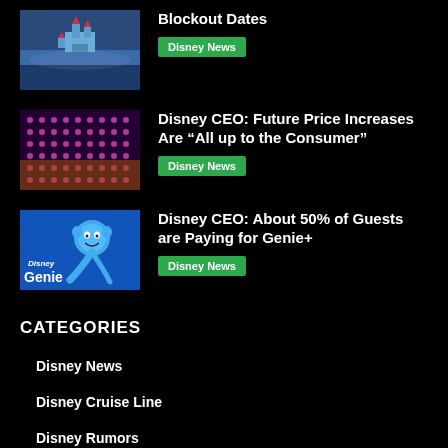[Figure (photo): Disneyland castle photo thumbnail]
Blockout Dates
Disney News
[Figure (photo): Colorful lights/dots pattern photo thumbnail]
Disney CEO: Future Price Increases Are “All up to the Consumer”
Disney News
[Figure (photo): Disney Genie logo with Genie character on blue background]
Disney CEO: About 50% of Guests are Paying for Genie+
Disney News
CATEGORIES
Disney News
Disney Cruise Line
Disney Rumors